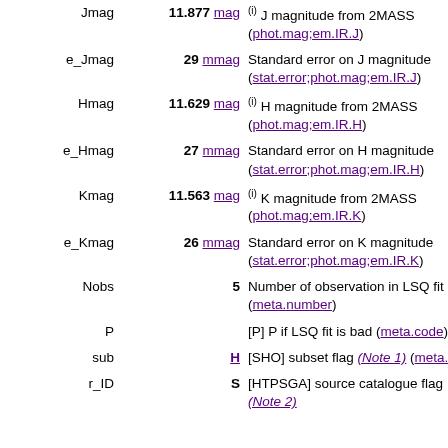| Field | Value | Description |
| --- | --- | --- |
| Jmag | 11.877 mag | (i) J magnitude from 2MASS (phot.mag;em.IR.J) |
| e_Jmag | 29 mmag | Standard error on J magnitude (stat.error;phot.mag;em.IR.J) |
| Hmag | 11.629 mag | (i) H magnitude from 2MASS (phot.mag;em.IR.H) |
| e_Hmag | 27 mmag | Standard error on H magnitude (stat.error;phot.mag;em.IR.H) |
| Kmag | 11.563 mag | (i) K magnitude from 2MASS (phot.mag;em.IR.K) |
| e_Kmag | 26 mmag | Standard error on K magnitude (stat.error;phot.mag;em.IR.K) |
| Nobs | 5 | Number of observation in LSQ fit (meta.number) |
| P |  | [P] P if LSQ fit is bad (meta.code) |
| sub | H | [SHO] subset flag (Note 1) (meta.id) |
| r_ID | S | [HTPSGA] source catalogue flag (Note 2) |